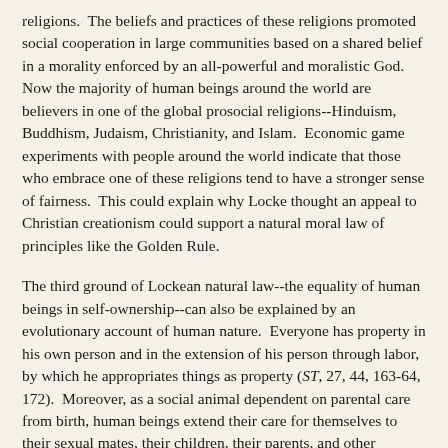religions.  The beliefs and practices of these religions promoted social cooperation in large communities based on a shared belief in a morality enforced by an all-powerful and moralistic God.  Now the majority of human beings around the world are believers in one of the global prosocial religions--Hinduism, Buddhism, Judaism, Christianity, and Islam.  Economic game experiments with people around the world indicate that those who embrace one of these religions tend to have a stronger sense of fairness.  This could explain why Locke thought an appeal to Christian creationism could support a natural moral law of principles like the Golden Rule.
The third ground of Lockean natural law--the equality of human beings in self-ownership--can also be explained by an evolutionary account of human nature.  Everyone has property in his own person and in the extension of his person through labor, by which he appropriates things as property (ST, 27, 44, 163-64, 172).  Moreover, as a social animal dependent on parental care from birth, human beings extend their care for themselves to their sexual mates, their children, their parents, and other relatives.  These social instincts of mammalian psychology can then be extended beyond the family to others with ties of social affiliation.  Thus, human morality can combine the biological inclination for extended